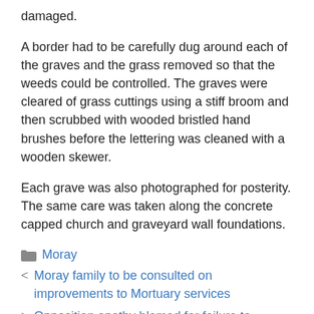damaged.
A border had to be carefully dug around each of the graves and the grass removed so that the weeds could be controlled. The graves were cleared of grass cuttings using a stiff broom and then scrubbed with wooded bristled hand brushes before the lettering was cleaned with a wooden skewer.
Each grave was also photographed for posterity. The same care was taken along the concrete capped church and graveyard wall foundations.
Moray
< Moray family to be consulted on improvements to Mortuary services
> Opposition apathy blamed for failure to